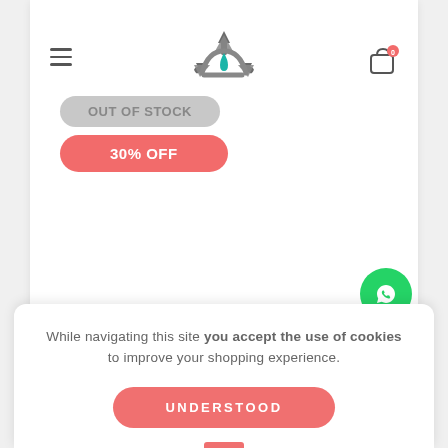[Figure (logo): Recycling symbol logo with teal water drop, gray arrows]
OUT OF STOCK
30% OFF
[Figure (other): Green WhatsApp chat bubble button]
While navigating this site you accept the use of cookies to improve your shopping experience.
UNDERSTOOD